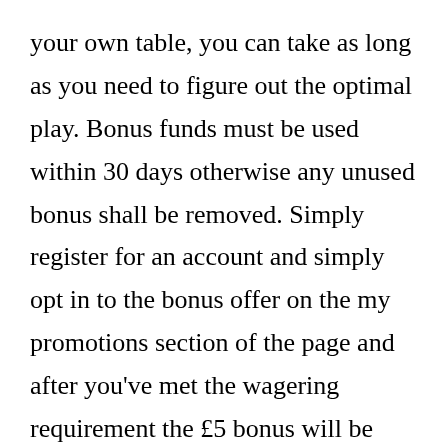your own table, you can take as long as you need to figure out the optimal play. Bonus funds must be used within 30 days otherwise any unused bonus shall be removed. Simply register for an account and simply opt in to the bonus offer on the my promotions section of the page and after you've met the wagering requirement the £5 bonus will be waiting to be claimed within your account. Checking in from north of the border. Payout Speed – 1 2 days via some methods. Therefore, we only